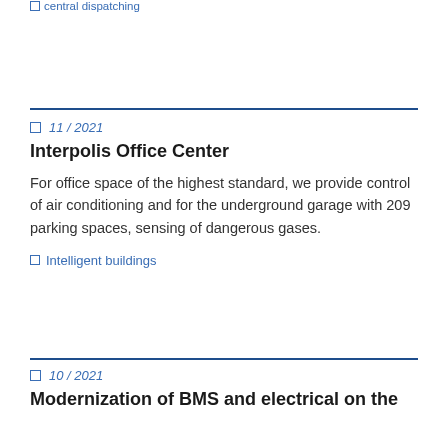central dispatching
11 / 2021
Interpolis Office Center
For office space of the highest standard, we provide control of air conditioning and for the underground garage with 209 parking spaces, sensing of dangerous gases.
Intelligent buildings
10 / 2021
Modernization of BMS and electrical on the